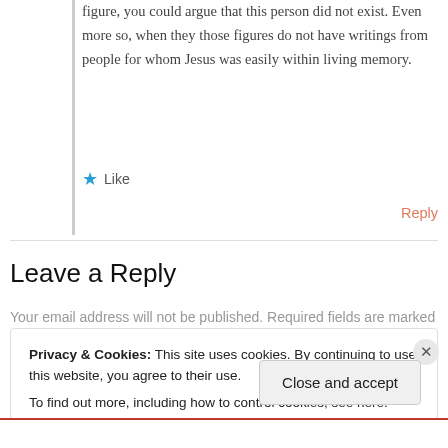figure, you could argue that this person did not exist. Even more so, when they those figures do not have writings from people for whom Jesus was easily within living memory.
★ Like
Reply
Leave a Reply
Your email address will not be published. Required fields are marked
Privacy & Cookies: This site uses cookies. By continuing to use this website, you agree to their use.
To find out more, including how to control cookies, see here: Cookie Policy
Close and accept